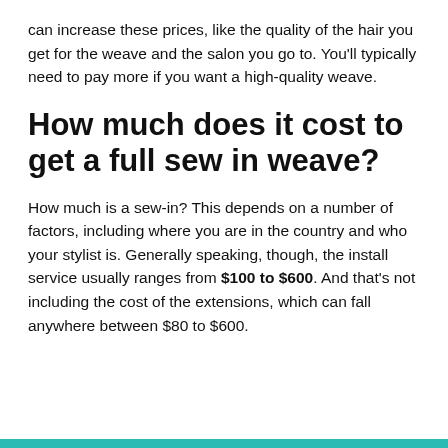can increase these prices, like the quality of the hair you get for the weave and the salon you go to. You'll typically need to pay more if you want a high-quality weave.
How much does it cost to get a full sew in weave?
How much is a sew-in? This depends on a number of factors, including where you are in the country and who your stylist is. Generally speaking, though, the install service usually ranges from $100 to $600. And that's not including the cost of the extensions, which can fall anywhere between $80 to $600.